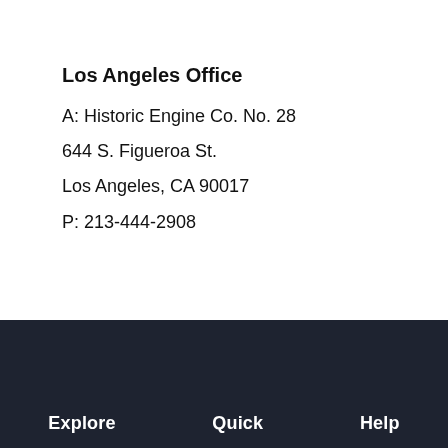Los Angeles Office
A: Historic Engine Co. No. 28
644 S. Figueroa St.
Los Angeles, CA 90017
P: 213-444-2908
Explore   Quick   Help